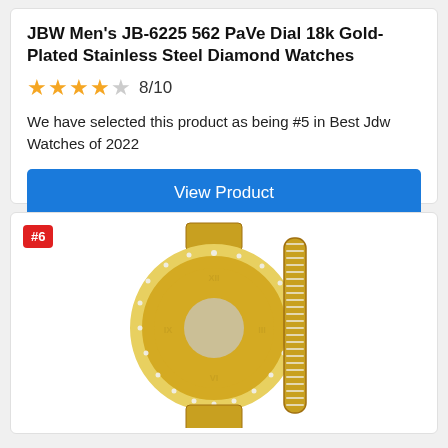JBW Men's JB-6225 562 PaVe Dial 18k Gold-Plated Stainless Steel Diamond Watches
8/10
We have selected this product as being #5 in Best Jdw Watches of 2022
View Product
#6
[Figure (photo): Gold-plated diamond watch with pavé dial and matching gold bracelet on white background]